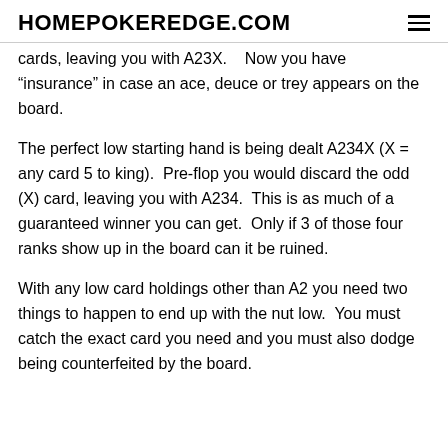HOMEPOKEREDGE.COM
cards, leaving you with A23X.   Now you have "insurance" in case an ace, deuce or trey appears on the board.
The perfect low starting hand is being dealt A234X (X = any card 5 to king).  Pre-flop you would discard the odd (X) card, leaving you with A234.  This is as much of a guaranteed winner you can get.  Only if 3 of those four ranks show up in the board can it be ruined.
With any low card holdings other than A2 you need two things to happen to end up with the nut low.  You must catch the exact card you need and you must also dodge being counterfeited by the board.